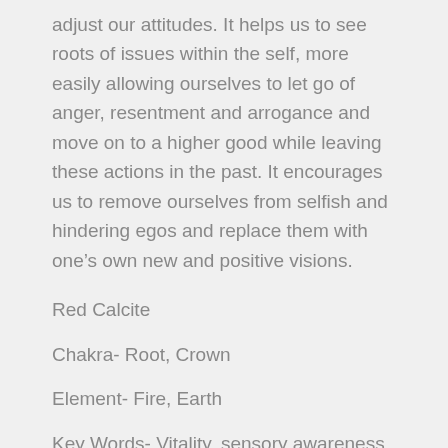adjust our attitudes. It helps us to see roots of issues within the self, more easily allowing ourselves to let go of anger, resentment and arrogance and move on to a higher good while leaving these actions in the past. It encourages us to remove ourselves from selfish and hindering egos and replace them with one's own new and positive visions.
Red Calcite
Chakra- Root, Crown
Element- Fire, Earth
Key Words- Vitality, sensory awareness, clarity
Red Calcite helps with the movement of energy through physical reality. It subtly brings out the life force energy and bridges the gap between physical